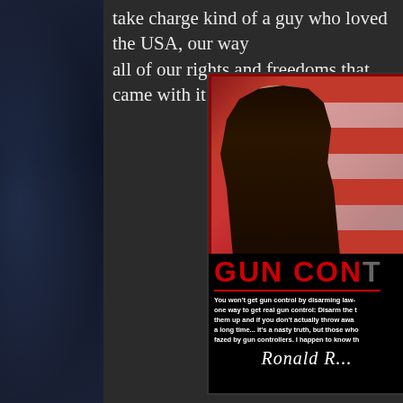take charge kind of a guy who loved the USA, our way of life and all of our rights and freedoms that came with it. I miss h
[Figure (photo): A motivational poster featuring a man in a dark suit with an American flag in the background. Large red text reads 'GUN CON' (truncated). Below is a quote beginning 'You won't get gun control by disarming law-...' followed by a cursive signature reading 'Ronald R...' (truncated). The poster has a black background with red and white design elements.]